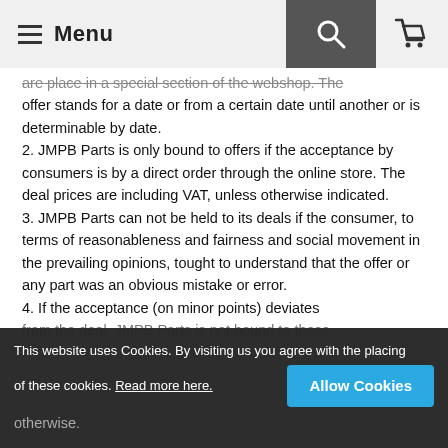Menu
are place in a special section of the webshop. The offer stands for a date or from a certain date until another or is determinable by date.
2. JMPB Parts is only bound to offers if the acceptance by consumers is by a direct order through the online store. The deal prices are including VAT, unless otherwise indicated.
3. JMPB Parts can not be held to its deals if the consumer, to terms of reasonableness and fairness and social movement in the prevailing opinions, tought to understand that the offer or any part was an obvious mistake or error.
4. If the acceptance (on minor points) deviates from the deal, JMPB Parts is not bound to these. The agreement is not in accordance with its normal acceptance, unless JMPB Parts indicates otherwise.
This website uses Cookies. By visiting us you agree with the placing of these cookies. Read more here. Allow Cookies